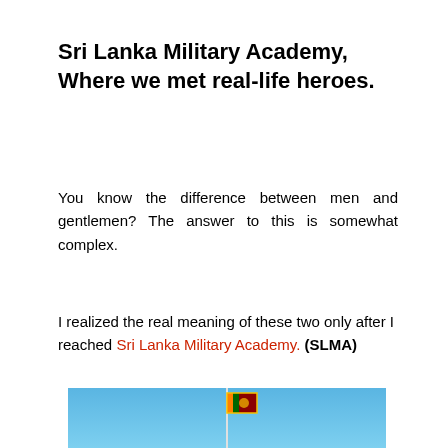Sri Lanka Military Academy, Where we met real-life heroes.
You know the difference between men and gentlemen? The answer to this is somewhat complex.
I realized the real meaning of these two only after I reached Sri Lanka Military Academy. (SLMA)
[Figure (photo): Photo of a flagpole with the Sri Lanka flag against a blue sky at the Sri Lanka Military Academy]